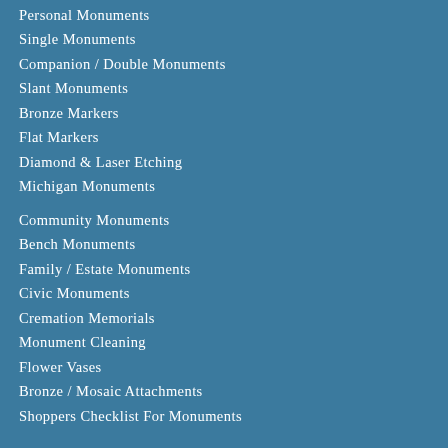Personal Monuments
Single Monuments
Companion / Double Monuments
Slant Monuments
Bronze Markers
Flat Markers
Diamond & Laser Etching
Michigan Monuments
Community Monuments
Bench Monuments
Family / Estate Monuments
Civic Monuments
Cremation Memorials
Monument Cleaning
Flower Vases
Bronze / Mosaic Attachments
Shoppers Checklist For Monuments